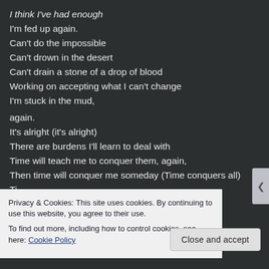I think I've had enough
I'm fed up again.
Can't do the impossible
Can't drown in the desert
Can't drain a stone of a drop of blood
Working on accepting what I can't change
I'm stuck in the mud,
again.
It's alright (it's alright)
There are burdens I'll learn to deal with
Time will teach me to conquer them, again,
Then time will conquer me someday (Time conquers all)
Privacy & Cookies: This site uses cookies. By continuing to use this website, you agree to their use.
To find out more, including how to control cookies, see here: Cookie Policy
Close and accept